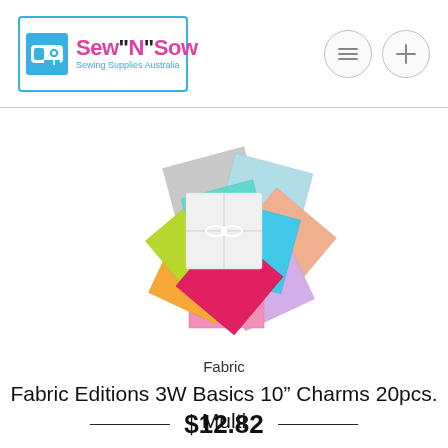Sew'N'Sow Sewing Supplies Australia
[Figure (photo): A fan arrangement of colorful fabric squares (charm packs) in various colors including red, pink, teal, cyan, lime green, orange, lavender, light blue, peach, gray, and white, tied together in the center with a white ribbon bow.]
Fabric
Fabric Editions 3W Basics 10” Charms 20pcs. Multi
$12.82